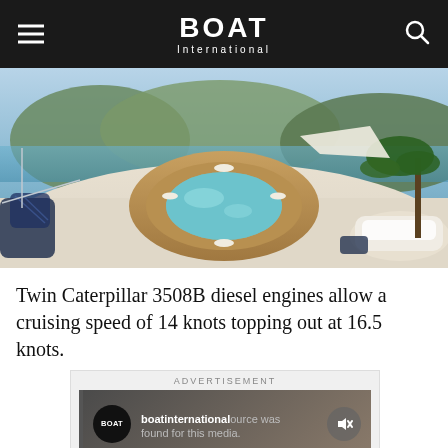BOAT International
[Figure (photo): Yacht sun deck with circular Jacuzzi surrounded by teak wood decking, lounge cushions, rolled towels, and a scenic coastal backdrop with mountains and moored boats.]
Twin Caterpillar 3508B diesel engines allow a cruising speed of 14 knots topping out at 16.5 knots.
[Figure (screenshot): Advertisement box showing Boat International branding with the message: No compatible source was found for this media.]